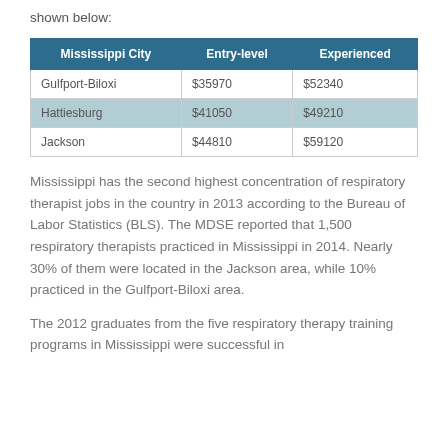shown below:
| Mississippi City | Entry-level | Experienced |
| --- | --- | --- |
| Gulfport-Biloxi | $35970 | $52340 |
| Hattiesburg | $41050 | $49210 |
| Jackson | $44810 | $59120 |
Mississippi has the second highest concentration of respiratory therapist jobs in the country in 2013 according to the Bureau of Labor Statistics (BLS). The MDSE reported that 1,500 respiratory therapists practiced in Mississippi in 2014. Nearly 30% of them were located in the Jackson area, while 10% practiced in the Gulfport-Biloxi area.
The 2012 graduates from the five respiratory therapy training programs in Mississippi were successful in